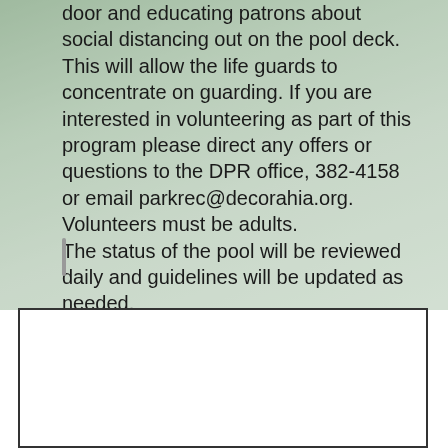door and educating patrons about social distancing out on the pool deck. This will allow the life guards to concentrate on guarding. If you are interested in volunteering as part of this program please direct any offers or questions to the DPR office, 382-4158 or email parkrec@decorahia.org. Volunteers must be adults.
The status of the pool will be reviewed daily and guidelines will be updated as needed.
LATEST POSTS
[Figure (photo): Circular cropped photo showing wildflowers/plants silhouetted against a sunset sky with pink and purple clouds, landscape in background]